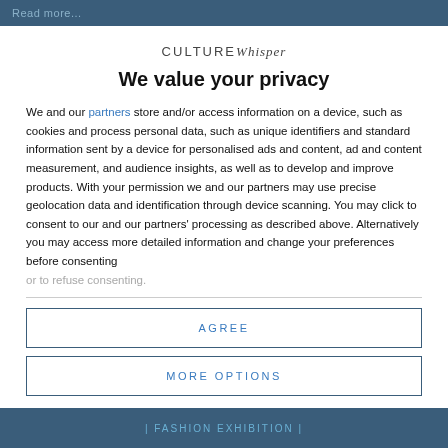Read more...
CULTUREWhisper
We value your privacy
We and our partners store and/or access information on a device, such as cookies and process personal data, such as unique identifiers and standard information sent by a device for personalised ads and content, ad and content measurement, and audience insights, as well as to develop and improve products. With your permission we and our partners may use precise geolocation data and identification through device scanning. You may click to consent to our and our partners' processing as described above. Alternatively you may access more detailed information and change your preferences before consenting or to refuse consenting.
AGREE
MORE OPTIONS
| FASHION EXHIBITION |